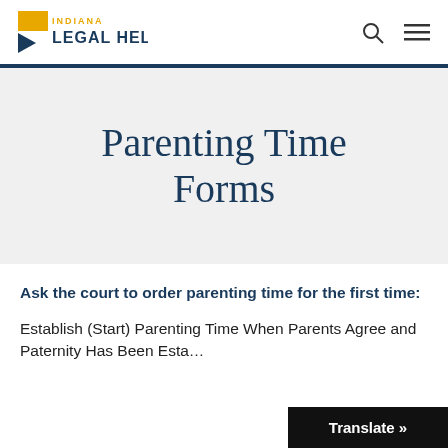Indiana Legal Help
Parenting Time Forms
Ask the court to order parenting time for the first time:
Establish (Start) Parenting Time When Parents Agree and Paternity Has Been Esta…